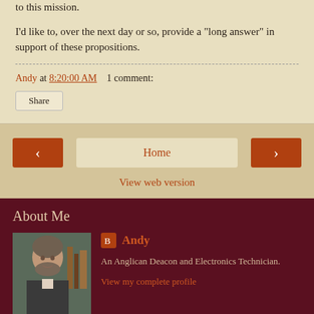to this mission.
I'd like to, over the next day or so, provide a "long answer" in support of these propositions.
Andy at 8:20:00 AM   1 comment:
Share
Home
View web version
About Me
Andy
An Anglican Deacon and Electronics Technician.
View my complete profile
Powered by Blogger.